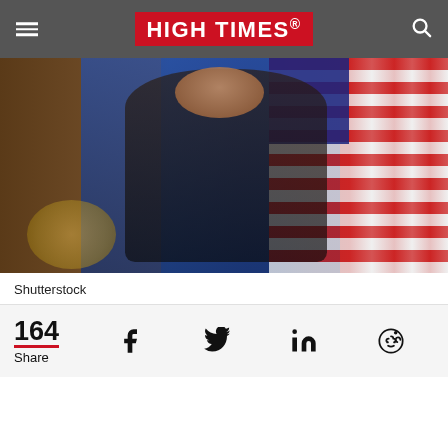HIGH TIMES
[Figure (photo): A woman in dark clothing speaking at a podium with an American flag and blue curtains in the background, appearing to be at an official government event.]
Shutterstock
164 Share